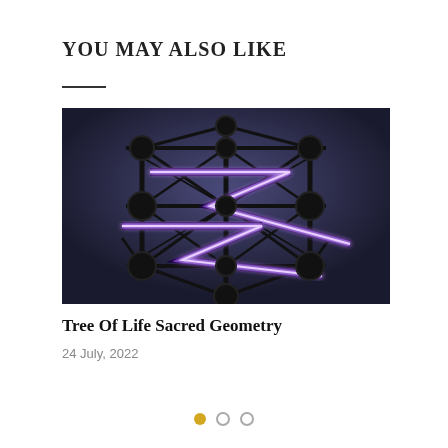YOU MAY ALSO LIKE
[Figure (illustration): Sacred geometry / Tree of Life illustration showing a stylized geometric structure with dark interconnected nodes and glowing purple/white zigzag lightning bolt lines overlaid on a dark blue background]
Tree Of Life Sacred Geometry
24 July, 2022